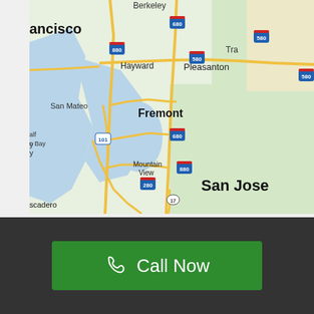[Figure (map): Google Maps view of the San Francisco Bay Area showing cities including Berkeley, Hayward, Pleasanton, San Mateo, Fremont, Mountain View, San Jose, and major highways including 680, 580, 880, 101, 280, and 17. The map shows water bodies (San Francisco Bay), green areas, and road networks.]
Call Now